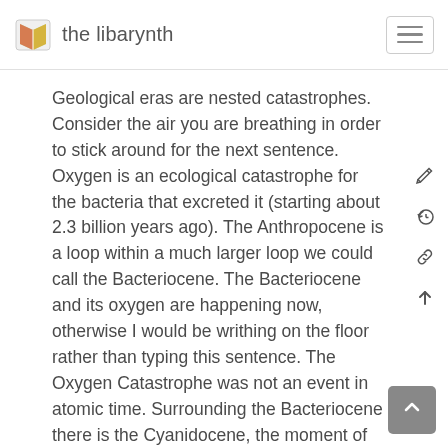the libarynth
Geological eras are nested catastrophes. Consider the air you are breathing in order to stick around for the next sentence. Oxygen is an ecological catastrophe for the bacteria that excreted it (starting about 2.3 billion years ago). The Anthropocene is a loop within a much larger loop we could call the Bacteriocene. The Bacteriocene and its oxygen are happening now, otherwise I would be writhing on the floor rather than typing this sentence. The Oxygen Catastrophe was not an event in atomic time. Surrounding the Bacteriocene there is the Cyanidocene, the moment of the strange dance of death-and-life between nucleic acids, proteins, and hydrogen cyanide polymers